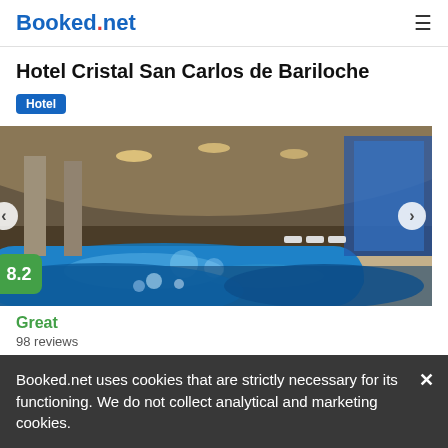Booked.net
Hotel Cristal San Carlos de Bariloche
Hotel
[Figure (photo): Indoor swimming pool of Hotel Cristal San Carlos de Bariloche. Large blue pool with lounge chairs along the side, stone columns, arched wooden ceiling with warm lighting, and blue-lit windows on the right wall.]
Great
98 reviews
Booked.net uses cookies that are strictly necessary for its functioning. We do not collect analytical and marketing cookies.